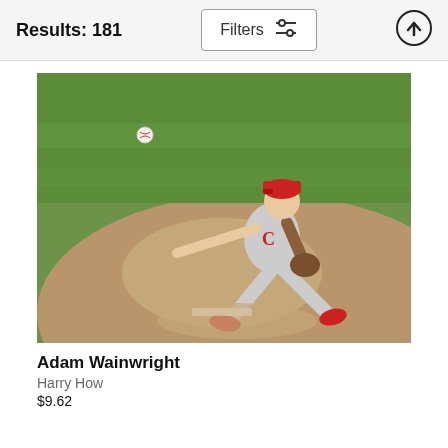Results: 181
[Figure (photo): Baseball pitcher Adam Wainwright in St. Louis Cardinals gray uniform and red cap, mid-pitch delivery on the pitcher's mound. A baseball is visible in the upper portion of the image. Green grass field background.]
Adam Wainwright
Harry How
$9.62